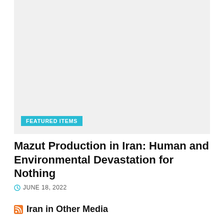[Figure (photo): Large image placeholder area with light gray background]
FEATURED ITEMS
Mazut Production in Iran: Human and Environmental Devastation for Nothing
JUNE 18, 2022
Iran in Other Media